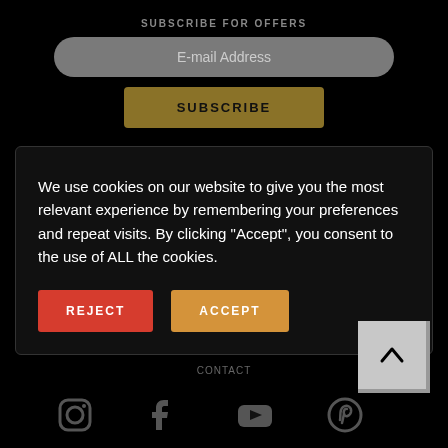SUBSCRIBE FOR OFFERS
E-mail Address
SUBSCRIBE
We use cookies on our website to give you the most relevant experience by remembering your preferences and repeat visits. By clicking “Accept”, you consent to the use of ALL the cookies.
REJECT
ACCEPT
CONTACT
[Figure (other): Back to top button with upward arrow chevron]
[Figure (other): Social media icons: Instagram, Facebook, YouTube, Pinterest]